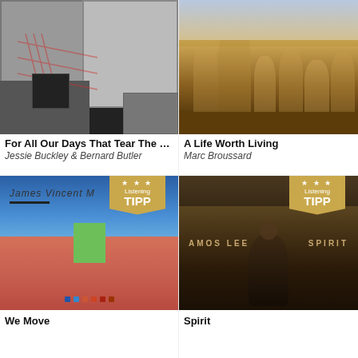[Figure (photo): Black and white collage album art for 'For All Our Days That Tear The Hea' by Jessie Buckley & Bernard Butler]
For All Our Days That Tear The Hea
Jessie Buckley & Bernard Butler
[Figure (photo): Color photo of a family with musical instruments on a porch for 'A Life Worth Living' by Marc Broussard]
A Life Worth Living
Marc Broussard
[Figure (photo): Abstract minimalist album art with blue and pink sections and a green rectangle, with 'James Vincent M' text, Listening TIPP badge, and colored dots for 'We Move']
We Move
[Figure (photo): Dark atmospheric album art showing a figure, with AMOS LEE and SPIRIT text, and a Listening TIPP badge for 'Spirit']
Spirit